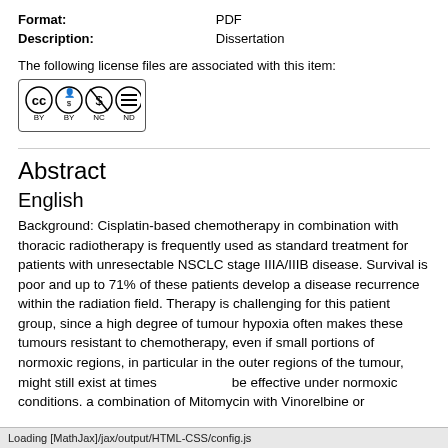| Format: | PDF |
| --- | --- |
| Description: | Dissertation |
The following license files are associated with this item:
[Figure (logo): Creative Commons license badge with BY NC ND icons]
Abstract
English
Background: Cisplatin-based chemotherapy in combination with thoracic radiotherapy is frequently used as standard treatment for patients with unresectable NSCLC stage IIIA/IIIB disease. Survival is poor and up to 71% of these patients develop a disease recurrence within the radiation field. Therapy is challenging for this patient group, since a high degree of tumour hypoxia often makes these tumours resistant to chemotherapy, even if small portions of normoxic regions, in particular in the outer regions of the tumour, might still exist at times ...to be effective under normoxic conditions. a combination of Mitomycin with Vinorelbine or
Loading [MathJax]/jax/output/HTML-CSS/config.js